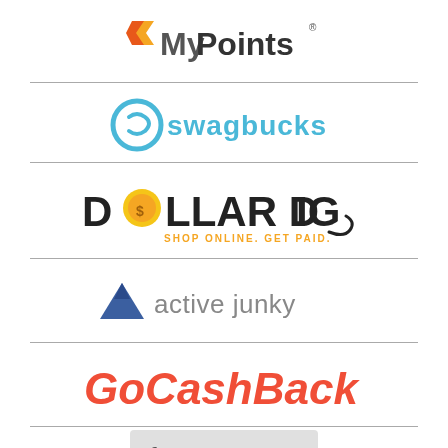[Figure (logo): MyPoints logo with orange arrow/chevron icon and grey bold text]
[Figure (logo): Swagbucks logo with teal/cyan icon and blue text]
[Figure (logo): Dollar Dig logo with coin replacing O, orange tagline SHOP ONLINE. GET PAID.]
[Figure (logo): Active Junky logo with blue mountain triangle icon and grey text]
[Figure (logo): GoCashBack logo in red italic bold text]
[Figure (logo): FatWallet.com logo on grey background with green accent letters]